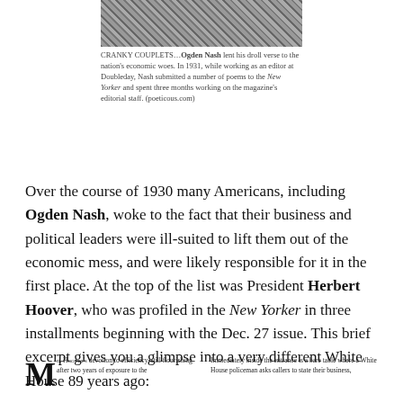[Figure (photo): Black and white photograph of Ogden Nash, partial view, cropped at top of page]
CRANKY COUPLETS…Ogden Nash lent his droll verse to the nation's economic woes. In 1931, while working as an editor at Doubleday, Nash submitted a number of poems to the New Yorker and spent three months working on the magazine's editorial staff. (poeticous.com)
Over the course of 1930 many Americans, including Ogden Nash, woke to the fact that their business and political leaders were ill-suited to lift them out of the economic mess, and were likely responsible for it in the first place. At the top of the list was President Herbert Hoover, who was profiled in the New Yorker in three installments beginning with the Dec. 27 issue. This brief excerpt gives you a glimpse into a very different White House 89 years ago:
MR. HOOVER'S devotion to efficiency, still flourishing after two years of exposure to the
Immediately inside the entrance is a bare table where a White House policeman asks callers to state their business,